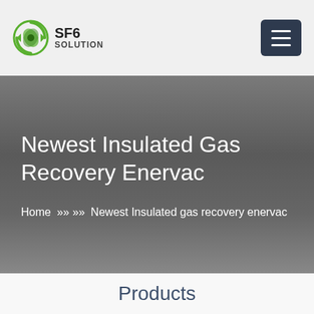SF6 SOLUTION
Newest Insulated Gas Recovery Enervac
Home >> >> Newest Insulated gas recovery enervac
Products